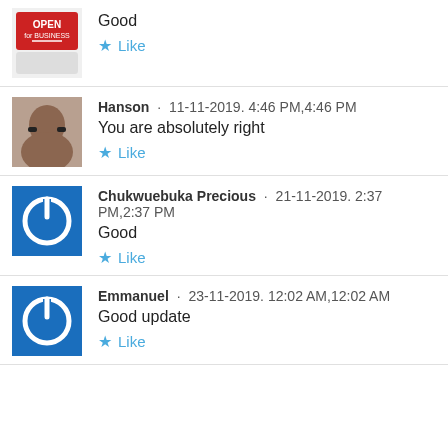Good
Like
Hanson · 11-11-2019. 4:46 PM,4:46 PM
You are absolutely right
Like
Chukwuebuka Precious · 21-11-2019. 2:37 PM,2:37 PM
Good
Like
Emmanuel · 23-11-2019. 12:02 AM,12:02 AM
Good update